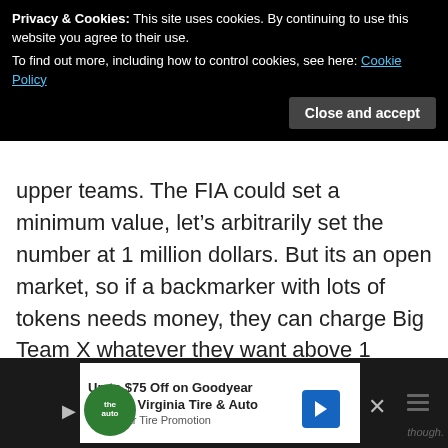team points, not individual driver points
Privacy & Cookies: This site uses cookies. By continuing to use this website you agree to their use. To find out more, including how to control cookies, see here: Cookie Policy
Close and accept
upper teams. The FIA could set a minimum value, let’s arbitrarily set the number at 1 million dollars. But its an open market, so if a backmarker with lots of tokens needs money, they can charge Big Team X whatever they want above 1 million per, as long as Team X is willing to pay.
[Figure (infographic): Advertisement banner for Virginia Tire & Auto / Goodyear Tire Promotion showing logo, arrow icon, and partial text]